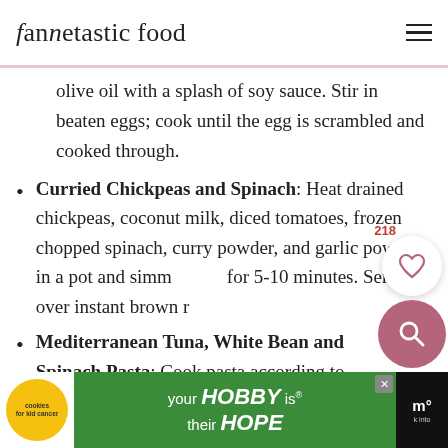fannetastic food
olive oil with a splash of soy sauce. Stir in beaten eggs; cook until the egg is scrambled and cooked through.
Curried Chickpeas and Spinach: Heat drained chickpeas, coconut milk, diced tomatoes, frozen chopped spinach, curry powder, and garlic powder in a pot and simmer for 5-10 minutes. Serve over instant brown r...
Mediterranean Tuna, White Bean and Spinach Pasta: Cook pasta according to...